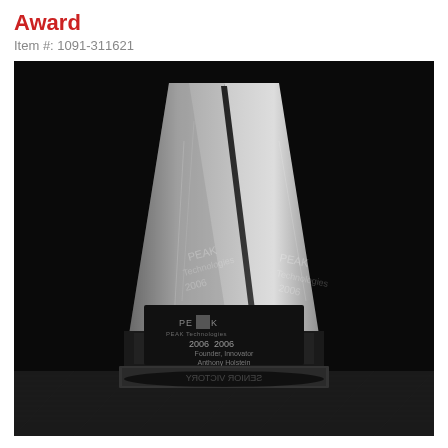Award
Item #: 1091-311621
[Figure (photo): Crystal glass award trophy with a tall pointed obelisk shape. The trophy has a triangular/pyramid form tapering to a sharp point at the top. It features engraved text including the PEAK logo (PEAK Technologies), the year 2006, and names including Anthony Holstein. The base has text reading 'SENIOR VICTORY' (mirrored/reflected). The trophy is photographed against a dark black background on a textured surface.]